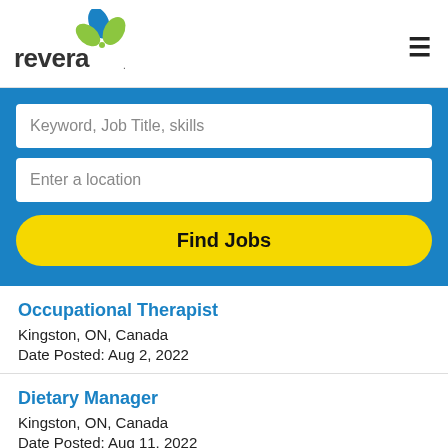[Figure (logo): Revera company logo with green and blue leaf design and 'revera' text]
Keyword, Job Title, skills
Enter a location
Find Jobs
Occupational Therapist
Kingston, ON, Canada
Date Posted: Aug 2, 2022
Dietary Manager
Kingston, ON, Canada
Date Posted: Aug 11, 2022